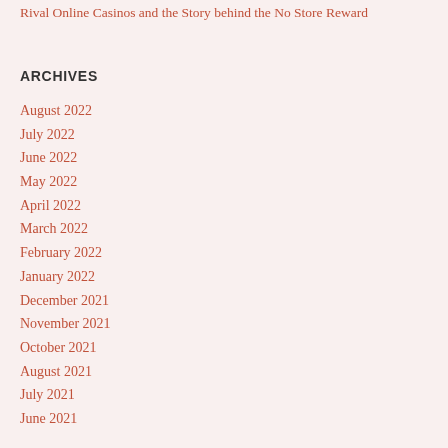Rival Online Casinos and the Story behind the No Store Reward
ARCHIVES
August 2022
July 2022
June 2022
May 2022
April 2022
March 2022
February 2022
January 2022
December 2021
November 2021
October 2021
August 2021
July 2021
June 2021